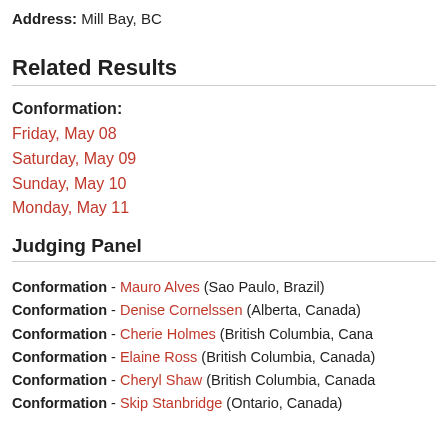Address: Mill Bay, BC
Related Results
Conformation:
Friday, May 08
Saturday, May 09
Sunday, May 10
Monday, May 11
Judging Panel
Conformation - Mauro Alves (Sao Paulo, Brazil)
Conformation - Denise Cornelssen (Alberta, Canada)
Conformation - Cherie Holmes (British Columbia, Canada)
Conformation - Elaine Ross (British Columbia, Canada)
Conformation - Cheryl Shaw (British Columbia, Canada)
Conformation - Skip Stanbridge (Ontario, Canada)